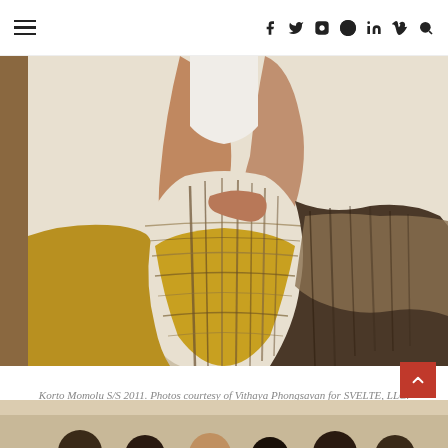≡  f  t  ⊙  p  in  V  🔍
[Figure (photo): Close-up runway photo of a model wearing a patterned skirt with yellow, brown, and white geometric/abstract print, with hand on hip and a ring visible. Korto Momolu S/S 2011.]
Korto Momolu S/S 2011. Photos courtesy of Vithaya Phongsavan for SVELTE, LLC.
[Figure (photo): Partial bottom photo showing audience heads at a fashion show runway.]